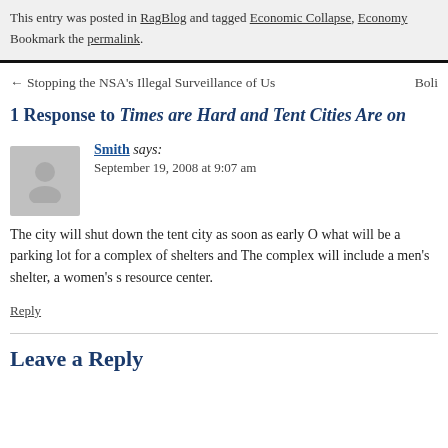This entry was posted in RagBlog and tagged Economic Collapse, Economy. Bookmark the permalink.
← Stopping the NSA's Illegal Surveillance of Us   Boli
1 Response to Times are Hard and Tent Cities Are on
Smith says: September 19, 2008 at 9:07 am
The city will shut down the tent city as soon as early O what will be a parking lot for a complex of shelters and The complex will include a men's shelter, a women's s resource center.
Reply
Leave a Reply